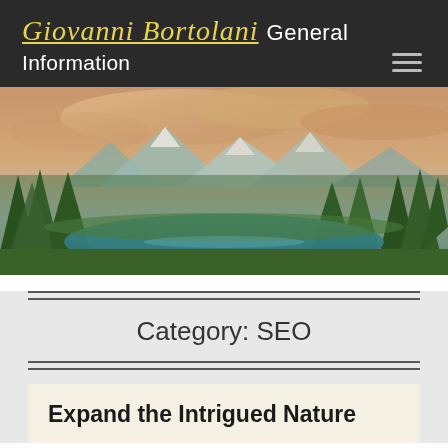Giovanni Bortolani  General  Information
[Figure (photo): Landscape photo showing a mountain lake surrounded by evergreen pine trees with snow-capped mountains in the background under a dramatic cloudy sky]
Category: SEO
Expand the Intrigued Nature